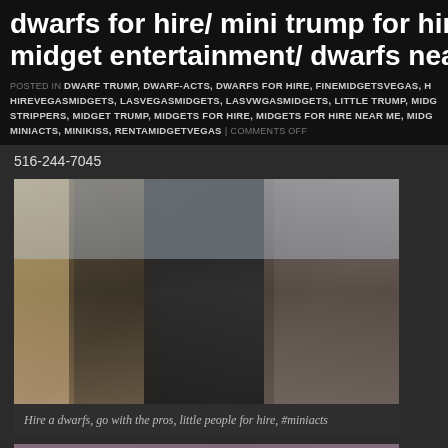dwarfs for hire/ mini trump for hire/ dwarfs midget entertainment/ dwarfs near me for h
POSTED IN DWARF TRUMP, DWARF-ACTS, DWARFS FOR HIRE, FINEMIDGETSVEGAS, H HIREVEGASMIDGETS, LASVEGASMIDGETS, LASVWGASMIDGETS, LITTLE TRUMP, MIDG STRIPPERS, MIDGET TRUMP, MIDGETS FOR HIRE, MIDGETS FOR HIRE NEAR ME, MIDG MINIACTS, MINIKISS, RENTAMIDGETVEGAS | COMMENTS OFF
516-244-7045
[Figure (photo): Group photo of four people posing together in what appears to be a store or shop]
Hire a dwarfs, go with the pros, little people for hire, #miniacts
[Figure (photo): Partial view of another group photo]